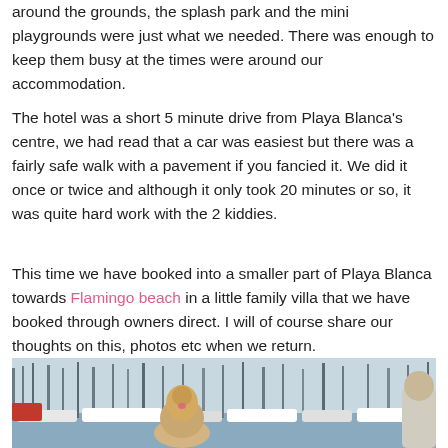around the grounds, the splash park and the mini playgrounds were just what we needed. There was enough to keep them busy at the times were around our accommodation.
The hotel was a short 5 minute drive from Playa Blanca's centre, we had read that a car was easiest but there was a fairly safe walk with a pavement if you fancied it. We did it once or twice and although it only took 20 minutes or so, it was quite hard work with the 2 kiddies.
This time we have booked into a smaller part of Playa Blanca towards Flamingo beach in a little family villa that we have booked through owners direct. I will of course share our thoughts on this, photos etc when we return.
[Figure (photo): A child with blonde hair in a bun viewed from behind, looking out at a marina full of sailboats and yachts. Another person is partially visible on the right edge.]